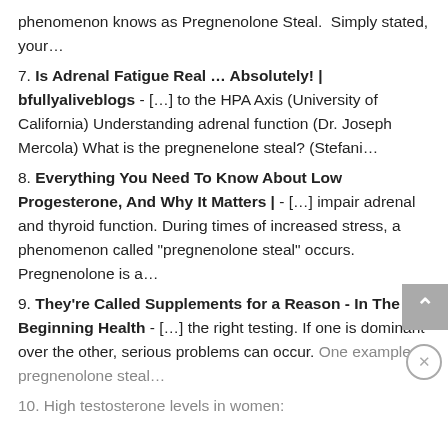phenomenon knows as Pregnenolone Steal.  Simply stated, your…
7. Is Adrenal Fatigue Real … Absolutely! | bfullyaliveblogs - […] to the HPA Axis (University of California) Understanding adrenal function (Dr. Joseph Mercola) What is the pregnenelone steal? (Stefani…
8. Everything You Need To Know About Low Progesterone, And Why It Matters | - […] impair adrenal and thyroid function. During times of increased stress, a phenomenon called "pregnenolone steal" occurs. Pregnenolone is a…
9. They're Called Supplements for a Reason - In The Beginning Health - […] the right testing. If one is dominant over the other, serious problems can occur. One example is pregnenolone steal…
10. High testosterone levels in women: